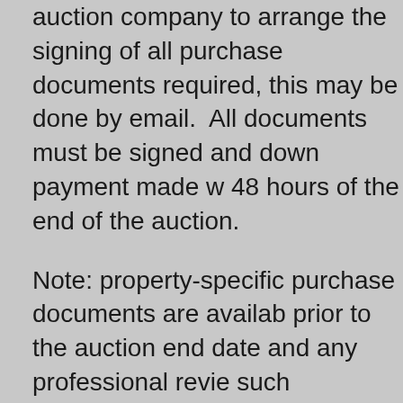auction company to arrange the signing of all purchase documents required, this may be done by email.  All documents must be signed and down payment made w 48 hours of the end of the auction.
Note: property-specific purchase documents are availab prior to the auction end date and any professional revie such documents should be undertaken PRIOR to biddin final bids are subject to Seller's confirmation, unless advertised otherwise. Any property with a high bid exce the Seller's reserve will be declared "sold" by the Aucti In instances where the seller's reserve was not met in t auction, the signed contract and accompanying deposit be presented to the Seller for approval, which shall be g or denied in the Seller's sole discretion within 2 busines days. If approval is denied, all documents and the depo be returned immediately.
DOWN PAYMENT (DEPOSIT): The Winning Bidder sha